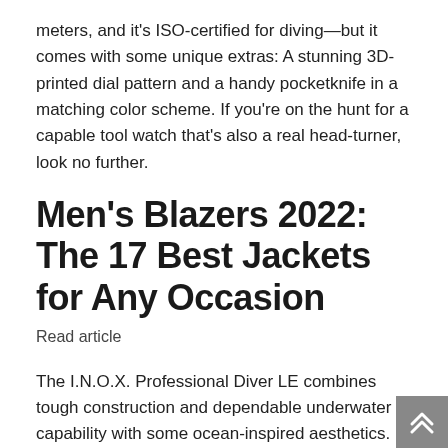meters, and it's ISO-certified for diving—but it comes with some unique extras: A stunning 3D-printed dial pattern and a handy pocketknife in a matching color scheme. If you're on the hunt for a capable tool watch that's also a real head-turner, look no further.
Men's Blazers 2022: The 17 Best Jackets for Any Occasion
Read article
The I.N.O.X. Professional Diver LE combines tough construction and dependable underwater capability with some ocean-inspired aesthetics. The watch features a 45mm titanium case that's sandblasted and coated in a black matte PVD finish. The case